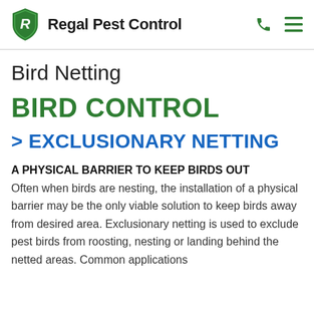Regal Pest Control
Bird Netting
BIRD CONTROL
> EXCLUSIONARY NETTING
A PHYSICAL BARRIER TO KEEP BIRDS OUT Often when birds are nesting, the installation of a physical barrier may be the only viable solution to keep birds away from desired area. Exclusionary netting is used to exclude pest birds from roosting, nesting or landing behind the netted areas. Common applications